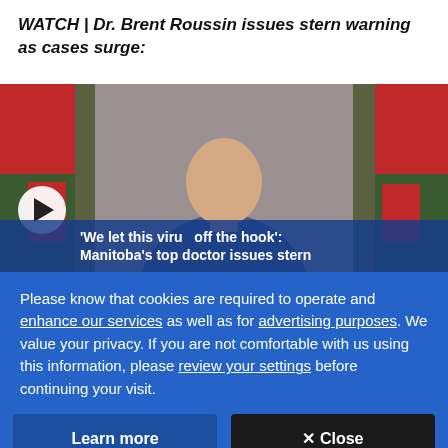WATCH | Dr. Brent Roussin issues stern warning as cases surge:
[Figure (screenshot): Video thumbnail showing Dr. Brent Roussin at a press conference with Manitoba flags in the background. A play button is visible at bottom left. Text overlay reads: 'We let this virus off the hook': Manitoba's top doctor issues stern]
Please know that cookies are required to operate and enhance our services as well as for advertising purposes. We value your privacy. If you are not comfortable with us using this information, please review your settings before continuing your visit.
Learn more
✕ Close